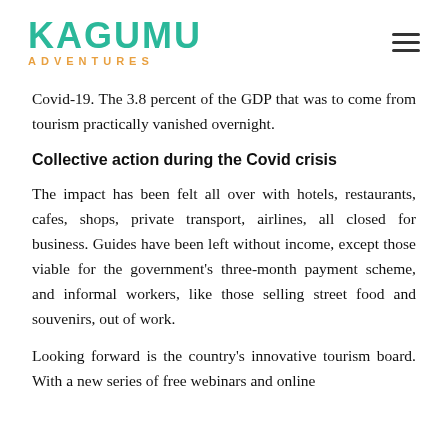[Figure (logo): Kagumu Adventures logo — KAGUMU in large teal/green uppercase letters, ADVENTURES in smaller orange spaced uppercase letters below]
Covid-19. The 3.8 percent of the GDP that was to come from tourism practically vanished overnight.
Collective action during the Covid crisis
The impact has been felt all over with hotels, restaurants, cafes, shops, private transport, airlines, all closed for business. Guides have been left without income, except those viable for the government's three-month payment scheme, and informal workers, like those selling street food and souvenirs, out of work.
Looking forward is the country's innovative tourism board. With a new series of free webinars and online